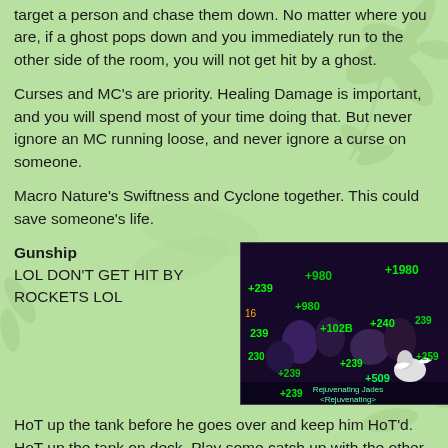target a person and chase them down. No matter where you are, if a ghost pops down and you immediately run to the other side of the room, you will not get hit by a ghost.
Curses and MC's are priority. Healing Damage is important, and you will spend most of your time doing that. But never ignore an MC running loose, and never ignore a curse on someone.
Macro Nature's Swiftness and Cyclone together. This could save someone's life.
Gunship
LOL DON'T GET HIT BY ROCKETS LOL
[Figure (screenshot): World of Warcraft raid screenshot showing multiple green healing numbers (+239, +980, +102B, +240, +259, +509, etc.) floating over characters in a battle scene. Text at bottom reads 'Rejuvenating Jades <Rejuvenating>']
HoT up the tank before he goes over and keep him HoT'd. HoT up the tank on deck. Play some catch up with the other raid members on board, but their damage is unpredictable and HoTs are often overwritten by Chain Heals and the like. If axe throwers are